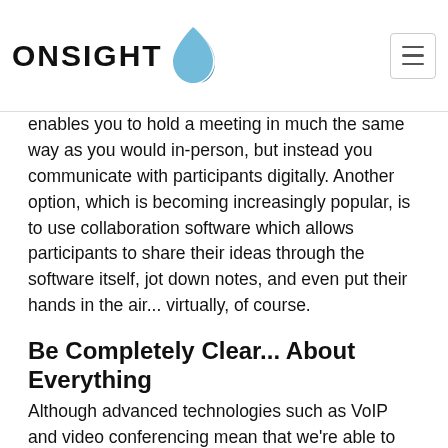ONSIGHT
enables you to hold a meeting in much the same way as you would in-person, but instead you communicate with participants digitally. Another option, which is becoming increasingly popular, is to use collaboration software which allows participants to share their ideas through the software itself, jot down notes, and even put their hands in the air... virtually, of course.
Be Completely Clear... About Everything
Although advanced technologies such as VoIP and video conferencing mean that we're able to see facial expressions and hear intonation in online business meetings which can help us to assign meaning to what's being said, clarity is still one of the biggest challenges when going virtual. There is typically a higher risk of meanings becoming lost and messages being misunderstood when using digital communications rather than the old-fashioned face-to-face method, so try to keep all participants on the same page wherever possible. Send a full agenda 24-48 hours prior to